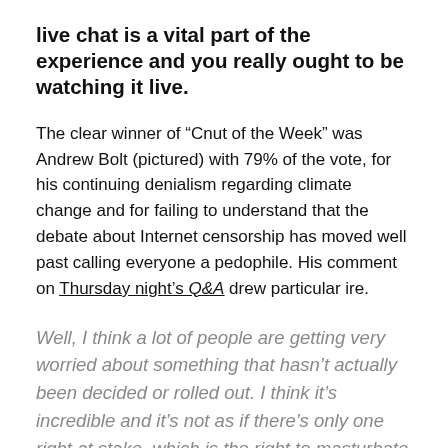live chat is a vital part of the experience and you really ought to be watching it live.
The clear winner of “Cnut of the Week” was Andrew Bolt (pictured) with 79% of the vote, for his continuing denialism regarding climate change and for failing to understand that the debate about Internet censorship has moved well past calling everyone a pedophile. His comment on Thursday night’s Q&A drew particular ire.
Well, I think a lot of people are getting very worried about something that hasn’t actually been decided or rolled out. I think it’s incredible and it’s not as if there’s only one right at stake, which is the right to masturbate over photos of children being raped. I mean, that’s not the only right at stake here. There’s